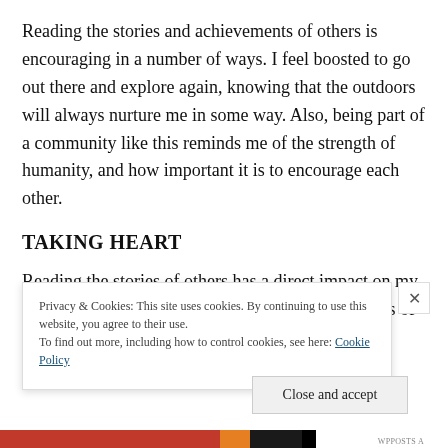Reading the stories and achievements of others is encouraging in a number of ways. I feel boosted to go out there and explore again, knowing that the outdoors will always nurture me in some way. Also, being part of a community like this reminds me of the strength of humanity, and how important it is to encourage each other.
TAKING HEART
Reading the stories of others has a direct impact on my self-worth. It reminds me that the restorative effects of
Privacy & Cookies: This site uses cookies. By continuing to use this website, you agree to their use.
To find out more, including how to control cookies, see here: Cookie Policy
Close and accept